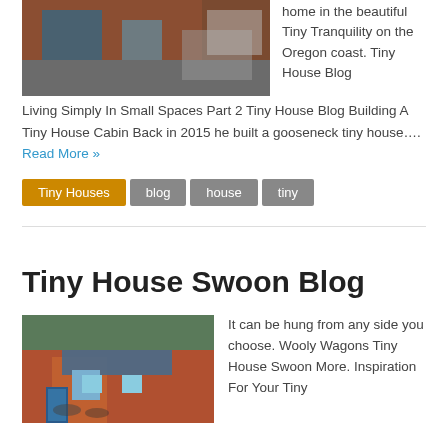[Figure (photo): Photo of a tiny house on wheels, reddish-brown siding, shown outdoors]
home in the beautiful Tiny Tranquility on the Oregon coast. Tiny House Blog Living Simply In Small Spaces Part 2 Tiny House Blog Building A Tiny House Cabin Back in 2015 he built a gooseneck tiny house…. Read More »
Tiny Houses
blog
house
tiny
Tiny House Swoon Blog
[Figure (photo): Photo of a small colorful tiny house with blue door, woman standing in front]
It can be hung from any side you choose. Wooly Wagons Tiny House Swoon More. Inspiration For Your Tiny